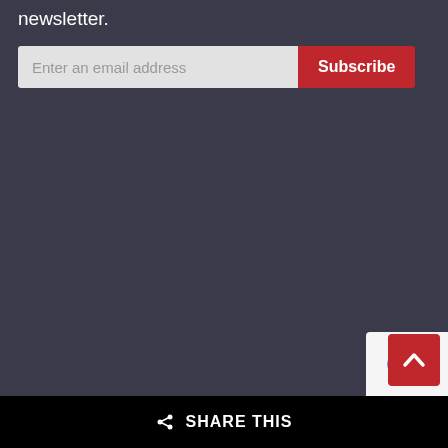newsletter.
[Figure (screenshot): Email subscription form with text input field labeled 'Enter an email address' and a red 'Subscribe' button]
[Figure (screenshot): reCAPTCHA badge partially visible in bottom right corner]
[Figure (infographic): Back to top button - red square with white upward arrow chevron]
SHARE THIS